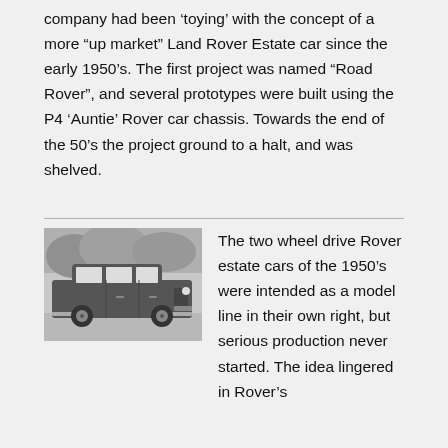company had been ‘toying’ with the concept of a more “up market” Land Rover Estate car since the early 1950’s. The first project was named “Road Rover”, and several prototypes were built using the P4 ‘Auntie’ Rover car chassis. Towards the end of the 50’s the project ground to a halt, and was shelved.
[Figure (photo): Black and white photograph of a vintage Rover estate car (station wagon) from the 1950s, parked with trees in the background.]
The two wheel drive Rover estate cars of the 1950’s were intended as a model line in their own right, but serious production never started. The idea lingered in Rover’s